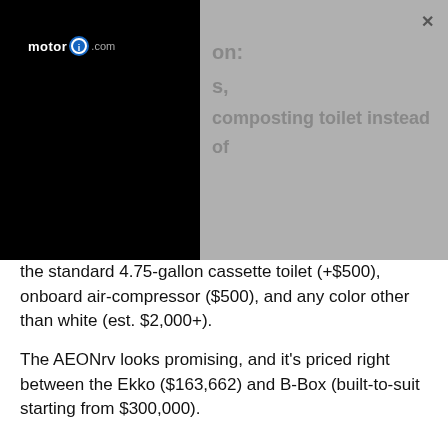[Figure (screenshot): Motor1.com logo on black background with gray overlay panel showing partially visible faded text and a close (X) button]
composting toilet instead of the standard 4.75-gallon cassette toilet (+$500), onboard air-compressor ($500), and any color other than white (est. $2,000+).
The AEONrv looks promising, and it's priced right between the Ekko ($163,662) and B-Box (built-to-suit starting from $300,000).
More Competition For The AEONrv:
[Figure (photo): White camper van exterior parked at dusk with play button overlay]
[Figure (photo): Interior of RV showing person sitting at dinette table with laptop]